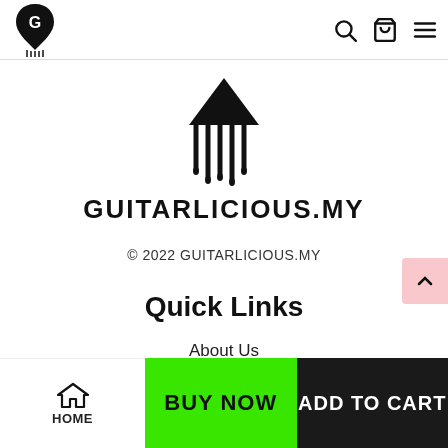[Figure (logo): Guitarlicious.MY small logo in top-left header nav]
[Figure (logo): Guitarlicious.MY large centered logo with stylized guitar pick dripping strings icon and text GUITARLICIOUS.MY]
© 2022 GUITARLICIOUS.MY
Quick Links
About Us
Location
Connect with Us